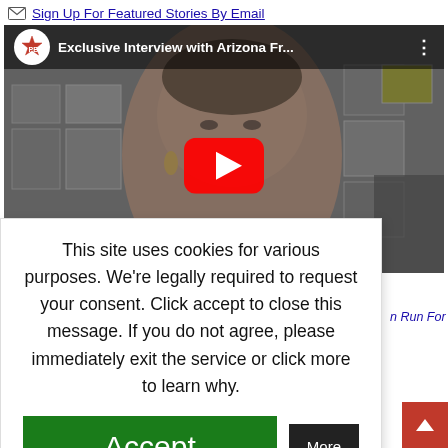Sign Up For Featured Stories By Email
[Figure (screenshot): YouTube video thumbnail showing 'Exclusive Interview with Arizona Fr...' with a woman's face and YouTube play button overlay]
This site uses cookies for various purposes. We're legally required to request your consent. Click accept to close this message. If you do not agree, please immediately exit the service or click more to learn why.
Accept | More
n Run For Governor;
am and earns
products). Othe